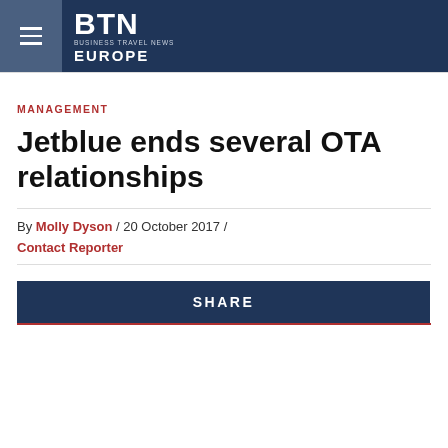BTN BUSINESS TRAVEL NEWS EUROPE
MANAGEMENT
Jetblue ends several OTA relationships
By Molly Dyson / 20 October 2017 /
Contact Reporter
SHARE